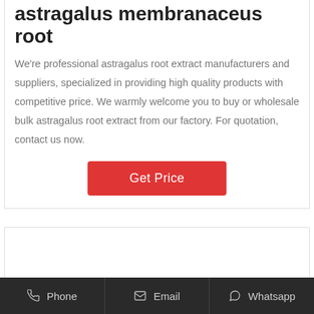astragalus membranaceus root
We're professional astragalus root extract manufacturers and suppliers, specialized in providing high quality products with competitive price. We warmly welcome you to buy or wholesale bulk astragalus root extract from our factory. For quotation, contact us now.
Get Price
Phone  Email  Whatsapp